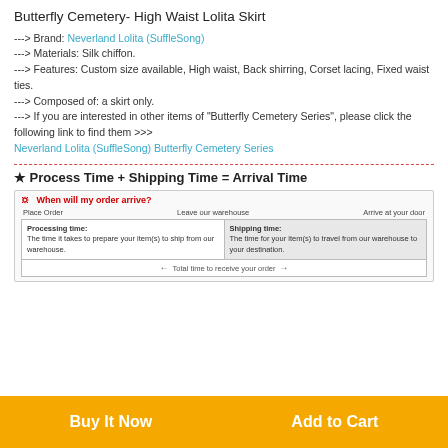Butterfly Cemetery- High Waist Lolita Skirt
---> Brand: Neverland Lolita (SuffleSong)
---> Materials: Silk chiffon.
---> Features: Custom size available, High waist, Back shirring, Corset lacing, Fixed waist ties.
---> Composed of: a skirt only.
---> If you are interested in other items of "Butterfly Cemetery Series", please click the following link to find them >>> Neverland Lolita (SuffleSong) Butterfly Cemetery Series
★ Process Time + Shipping Time = Arrival Time
[Figure (infographic): When will my order arrive? Infographic showing Place Order -> Processing time -> Leave our warehouse -> Shipping time -> Arrive at your door. Total time to receive your order shown at bottom.]
Buy It Now    Add to Cart